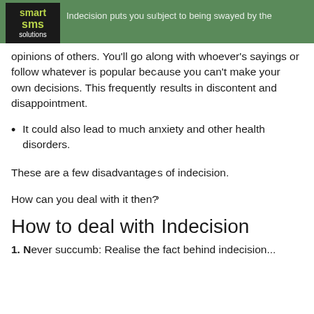Indecision puts you subject to being swayed by the opinions of others.
opinions of others. You'll go along with whoever's sayings or follow whatever is popular because you can't make your own decisions. This frequently results in discontent and disappointment.
It could also lead to much anxiety and other health disorders.
These are a few disadvantages of indecision.
How can you deal with it then?
How to deal with Indecision
1. Never succumb: Realise the fact behind indecision...